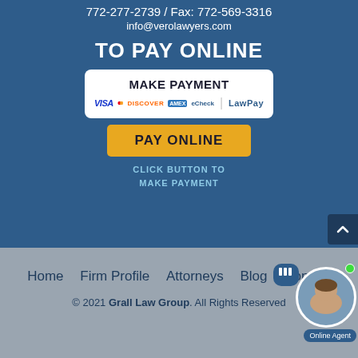772-277-2739 / Fax: 772-569-3316
info@verolawyers.com
TO PAY ONLINE
[Figure (other): Payment widget box showing MAKE PAYMENT heading with payment icons: VISA, Mastercard, Discover, American Express, eCheck, LawPay logos]
PAY ONLINE
CLICK BUTTON TO MAKE PAYMENT
Home   Firm Profile   Attorneys   Blog   Contact
© 2021 Grall Law Group. All Rights Reserved